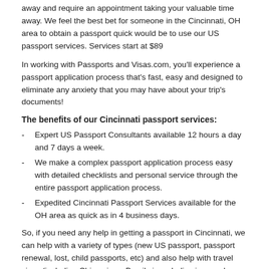away and require an appointment taking your valuable time away.  We feel the best bet for someone in the Cincinnati, OH area to obtain a passport quick would be to use our US passport services.  Services start at $89
In working with Passports and Visas.com, you'll experience a passport application process that's fast, easy and designed to eliminate any anxiety that you may have about your trip's documents!
The benefits of our Cincinnati passport services:
Expert US Passport Consultants available 12 hours a day and 7 days a week.
We make a complex passport application process easy with detailed checklists and personal service through the entire passport application process.
Expedited Cincinnati Passport Services available for the OH area as quick as in 4 business days.
So, if you need any help in getting a passport in Cincinnati, we can help with a variety of types (new US passport, passport renewal, lost, child passports, etc) and also help with travel visas (including China visas, Brazil visas, India visas and Russian visas).  Just give us a call at 844-804-6223 to get started!